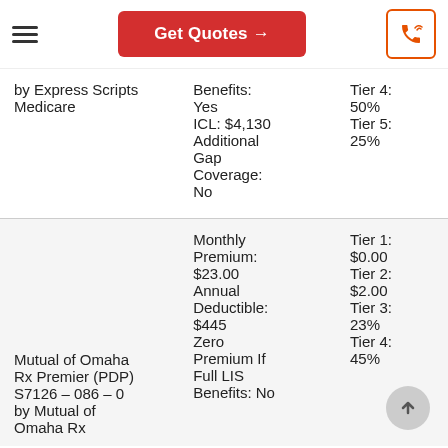Get Quotes →
| Plan | Benefits | Tiers |
| --- | --- | --- |
| by Express Scripts Medicare | Benefits: Yes
ICL: $4,130
Additional Gap Coverage: No | Tier 4: 50%
Tier 5: 25% |
| Mutual of Omaha Rx Premier (PDP) S7126 – 086 – 0 by Mutual of Omaha Rx | Monthly Premium: $23.00
Annual Deductible: $445
Zero Premium If Full LIS Benefits: No | Tier 1: $0.00
Tier 2: $2.00
Tier 3: 23%
Tier 4: 45% |